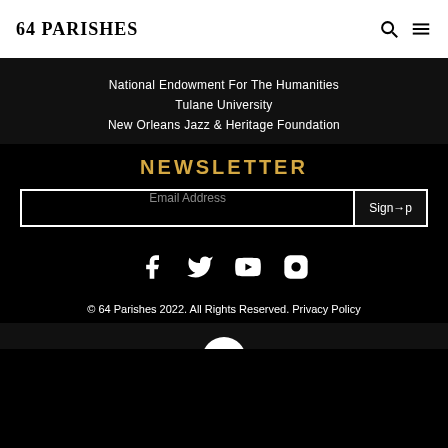64 PARISHES
National Endowment For The Humanities
Tulane University
New Orleans Jazz & Heritage Foundation
NEWSLETTER
Email Address  Sign→p
[Figure (infographic): Social media icons: Facebook, Twitter, YouTube, Instagram]
© 64 Parishes 2022. All Rights Reserved. Privacy Policy